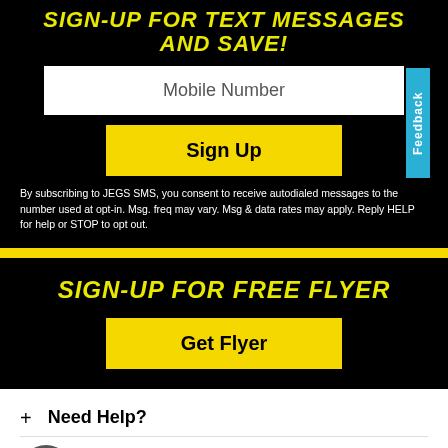SIGN-UP FOR TEXT MESSAGES AND SAVE!
Mobile Number
Sign Up
By subscribing to JEGS SMS, you consent to receive autodialed messages to the number used at opt-in. Msg. freq may vary. Msg & data rates may apply. Reply HELP for help or STOP to opt out.
SIGN-UP FOR FREE FLYER
Get Flyer
+ Need Help?
+ Quick Links
+ About Us